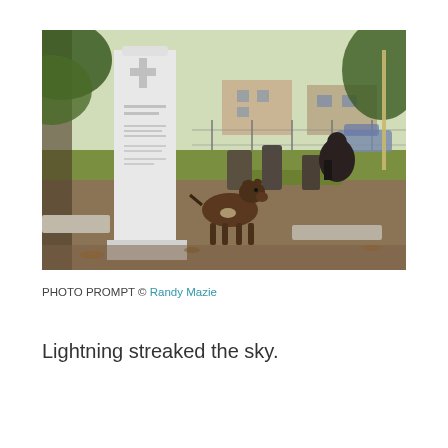[Figure (photo): A photograph of a cemetery with a tall white gravestone monument in the foreground bearing a cross and inscribed text. A brown goat stands in the middle of the cemetery grounds. In the background there are more grave markers, a person sitting near a dark monument, trees, buildings, a chain-link fence, and parked cars.]
PHOTO PROMPT © Randy Mazie
Lightning streaked the sky.